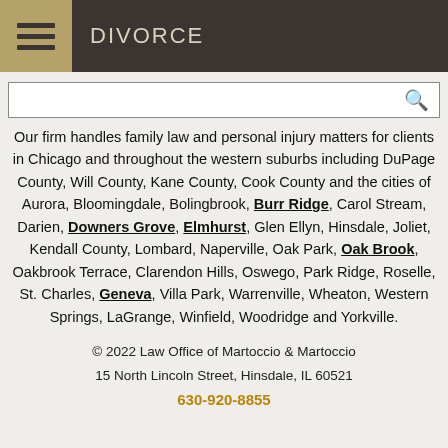DIVORCE
Our firm handles family law and personal injury matters for clients in Chicago and throughout the western suburbs including DuPage County, Will County, Kane County, Cook County and the cities of Aurora, Bloomingdale, Bolingbrook, Burr Ridge, Carol Stream, Darien, Downers Grove, Elmhurst, Glen Ellyn, Hinsdale, Joliet, Kendall County, Lombard, Naperville, Oak Park, Oak Brook, Oakbrook Terrace, Clarendon Hills, Oswego, Park Ridge, Roselle, St. Charles, Geneva, Villa Park, Warrenville, Wheaton, Western Springs, LaGrange, Winfield, Woodridge and Yorkville.
© 2022 Law Office of Martoccio & Martoccio
15 North Lincoln Street, Hinsdale, IL 60521
630-920-8855